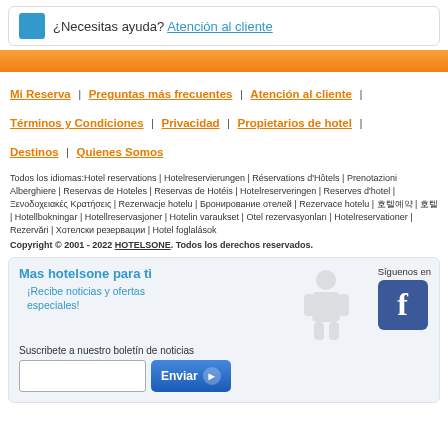¿Necesitas ayuda? Atención al cliente
[Figure (other): Orange horizontal gradient strip/banner]
Mi Reserva | Preguntas más frecuentes | Atención al cliente | Términos y Condiciones | Privacidad | Propietarios de hotel | Destinos | Quienes Somos
Todos los idiomas:Hotel reservations | Hotelreservierungen | Réservations d'Hôtels | Prenotazioni Alberghiere | Reservas de Hoteles | Reservas de Hotéis | Hotelreserveringen | Reserves d'hotel | Ξενοδοχειακές Κρατήσεις | Rezerwacje hotelu | Бронирование отелей | Rezervace hotelu | 호텔예약 | 호텔 | Hotellbokningar | Hotellreservasjoner | Hotelin varaukset | Otel rezervasyonları | Hotelreservationer | Rezervări | Хотелски резервации | Hotel foglalások
Copyright © 2001 - 2022 HOTELSONE. Todos los derechos reservados.
Mas hotelsone para ti
¡Recibe noticias y ofertas especiales!
Síguenos en
Suscribete a nuestro boletín de noticias
Enviar